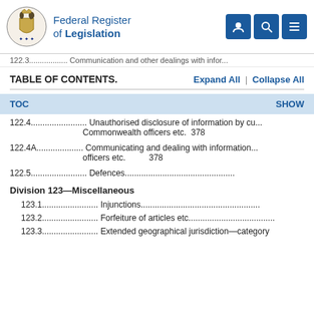Federal Register of Legislation
122.3.................. Communication and other dealings with infor...
TABLE OF CONTENTS.    Expand All  |  Collapse All
| TOC | SHOW |
| --- | --- |
| 122.4........................ Unauthorised disclosure of information by cu... Commonwealth officers etc.  378 |  |
| 122.4A.................... Communicating and dealing with information... officers etc.  378 |  |
| 122.5........................ Defences....................................................... |  |
| Division 123—Miscellaneous |  |
| 123.1........................ Injunctions....................................................... |  |
| 123.2........................ Forfeiture of articles etc.................................... |  |
| 123.3........................ Extended geographical jurisdiction—category... |  |